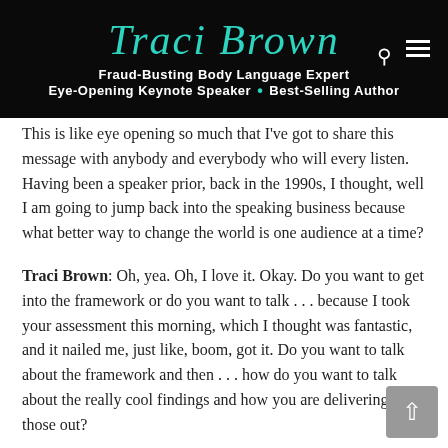[Figure (logo): Traci Brown website header with teal cursive logo on black background, search icon, and hamburger menu]
Fraud-Busting Body Language Expert
Eye-Opening Keynote Speaker • Best-Selling Author
This is like eye opening so much that I've got to share this message with anybody and everybody who will every listen. Having been a speaker prior, back in the 1990s, I thought, well I am going to jump back into the speaking business because what better way to change the world is one audience at a time?
Traci Brown: Oh, yea. Oh, I love it. Okay. Do you want to get into the framework or do you want to talk . . . because I took your assessment this morning, which I thought was fantastic, and it nailed me, just like, boom, got it. Do you want to talk about the framework and then . . . how do you want to talk about the really cool findings and how you are delivering those out?
Kevin McCarthy: Yea. We can talk about all of that. There is